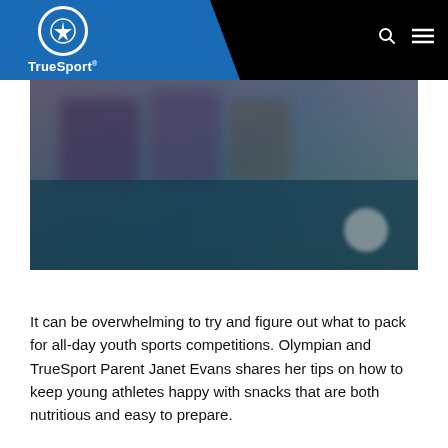TrueSport
[Figure (photo): Blurred photo of youth sports competition scene with dark teal overlay and a blurred circle element in the lower right]
It can be overwhelming to try and figure out what to pack for all-day youth sports competitions. Olympian and TrueSport Parent Janet Evans shares her tips on how to keep young athletes happy with snacks that are both nutritious and easy to prepare.